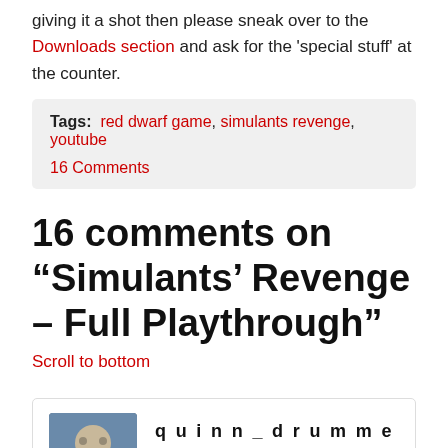giving it a shot then please sneak over to the Downloads section and ask for the 'special stuff' at the counter.
Tags: red dwarf game, simulants revenge, youtube
16 Comments
16 comments on “Simulants’ Revenge – Full Playthrough”
Scroll to bottom
quinn_drummer
September 19, 2020 at 6:10 pm
Oh now THIS is exciting.
Be back once I've watched it.